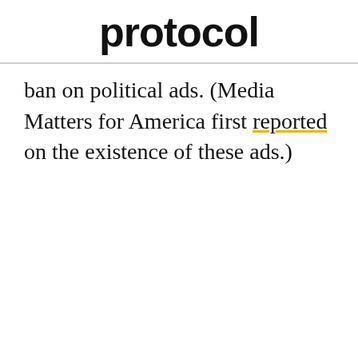protocol
ban on political ads. (Media Matters for America first reported on the existence of these ads.)